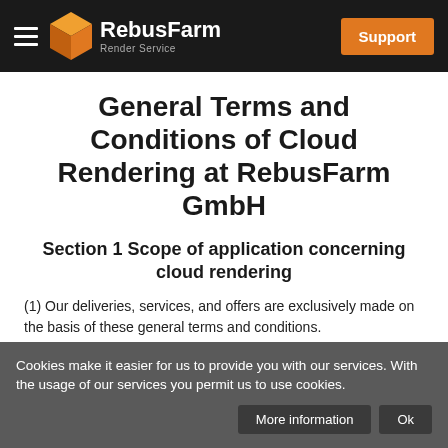[Figure (logo): RebusFarm Render Service logo with orange 3D cube icon and navigation bar with hamburger menu and Support button]
General Terms and Conditions of Cloud Rendering at RebusFarm GmbH
Section 1 Scope of application concerning cloud rendering
(1) Our deliveries, services, and offers are exclusively made on the basis of these general terms and conditions.
Cookies make it easier for us to provide you with our services. With the usage of our services you permit us to use cookies.